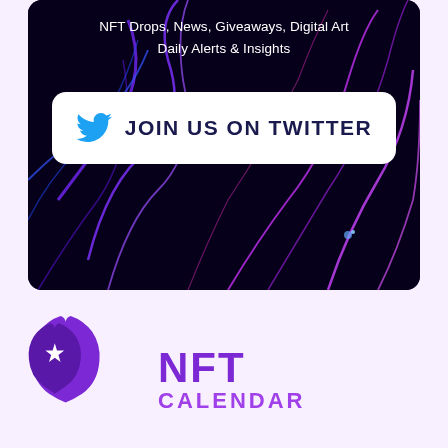[Figure (illustration): Dark banner with neon purple and blue glowing lines on black background, containing text 'NFT Drops, News, Giveaways, Digital Art / Daily Alerts & Insights' and a white rounded button 'JOIN US ON TWITTER' with Twitter bird logo]
[Figure (logo): NFT Calendar logo: purple droplet/shield icon with star, next to bold purple text 'NFT' and 'CALENDAR']